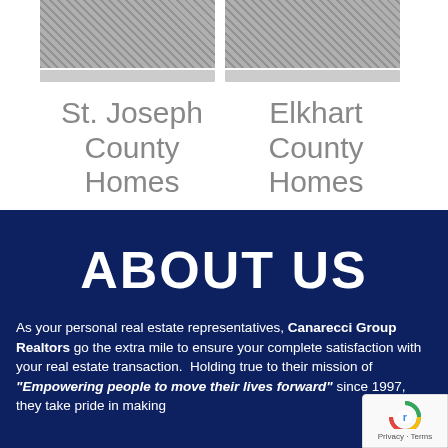[Figure (photo): Grayscale photo of St. Joseph County Homes property]
[Figure (photo): Grayscale photo of Elkhart County Homes property]
St. Joseph County Homes
Elkhart County Homes
ABOUT US
As your personal real estate representatives, Canarecci Group Realtors go the extra mile to ensure your complete satisfaction with your real estate transaction.  Holding true to their mission of "Empowering people to move their lives forward" since 1997, they take pride in making